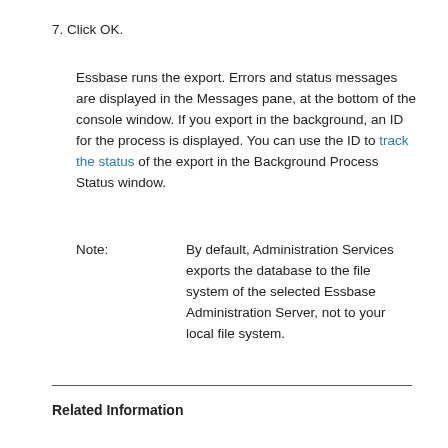7. Click OK.
Essbase runs the export. Errors and status messages are displayed in the Messages pane, at the bottom of the console window. If you export in the background, an ID for the process is displayed. You can use the ID to track the status of the export in the Background Process Status window.
Note:  By default, Administration Services exports the database to the file system of the selected Essbase Administration Server, not to your local file system.
Related Information